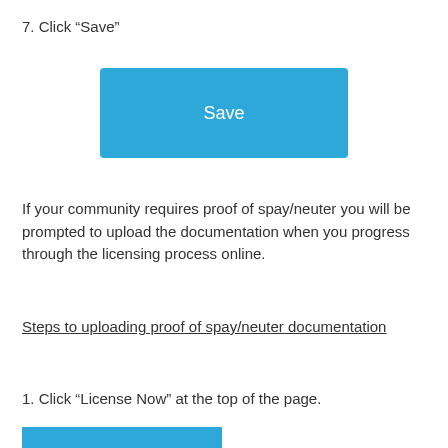7. Click “Save”
[Figure (screenshot): Blue 'Save' button UI element]
If your community requires proof of spay/neuter you will be prompted to upload the documentation when you progress through the licensing process online.
Steps to uploading proof of spay/neuter documentation
1. Click “License Now” at the top of the page.